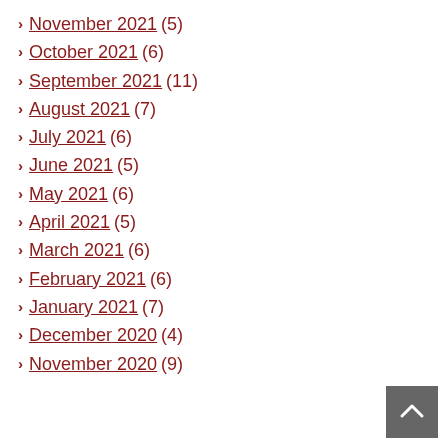November 2021 (5)
October 2021 (6)
September 2021 (11)
August 2021 (7)
July 2021 (6)
June 2021 (5)
May 2021 (6)
April 2021 (5)
March 2021 (6)
February 2021 (6)
January 2021 (7)
December 2020 (4)
November 2020 (9)